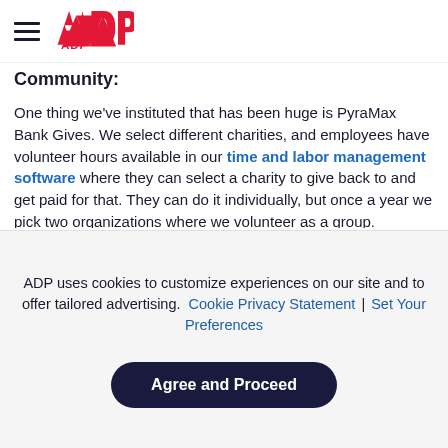ADP (logo and navigation hamburger menu)
Community:
One thing we've instituted that has been huge is PyraMax Bank Gives. We select different charities, and employees have volunteer hours available in our time and labor management software where they can select a charity to give back to and get paid for that. They can do it individually, but once a year we pick two organizations where we volunteer as a group.
We always have one larger charity that employees select in conjunction with our wellness program. In the past, it's been the American Heart Association, and we raised over $10,000. We've also
ADP uses cookies to customize experiences on our site and to offer tailored advertising. Cookie Privacy Statement | Set Your Preferences
Agree and Proceed